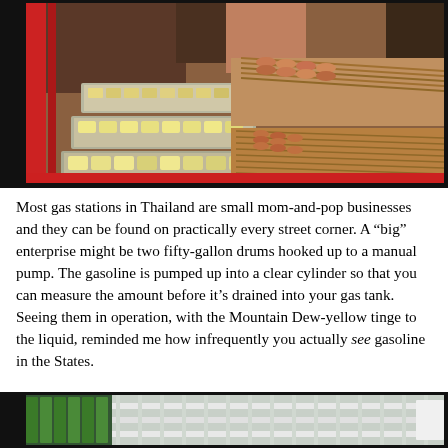[Figure (photo): Street food vendor stall showing multiple trays of skewered meat and tofu on a cart, with red poles visible on the left and various meat skewers arranged on the right side.]
Most gas stations in Thailand are small mom-and-pop businesses and they can be found on practically every street corner.  A “big” enterprise might be two fifty-gallon drums hooked up to a manual pump.  The gasoline is pumped up into a clear cylinder so that you can measure the amount before it’s drained into your gas tank.  Seeing them in operation, with the Mountain Dew-yellow tinge to the liquid, reminded me how infrequently you actually see gasoline in the States.
[Figure (photo): Partial view of what appears to be green bottles and white shelving or railing structure at a market or gas station.]